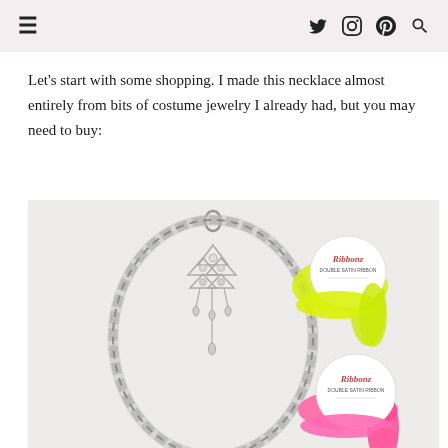≡ [twitter] [instagram] [pinterest] [search]
Let's start with some shopping. I made this necklace almost entirely from bits of costume jewelry I already had, but you may need to buy:
[Figure (photo): Flat lay photo showing a silver chain necklace with a rhinestone chandelier pendant, alongside two spools of ribbon — one neon yellow-green and one hot pink — both labeled 'Ribbonz' on white circular packaging, set against a white/light gray background.]